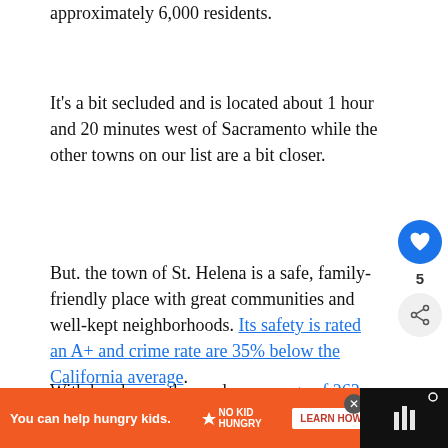approximately 6,000 residents.
It's a bit secluded and is located about 1 hour and 20 minutes west of Sacramento while the other towns on our list are a bit closer.
But. the town of St. Helena is a safe, family-friendly place with great communities and well-kept neighborhoods. Its safety is rated an A+ and crime rate are 35% below the California average.
With lovely weather and an average of 263